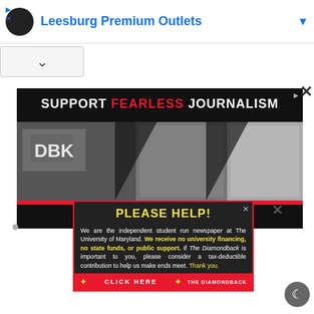[Figure (screenshot): Top ad banner for Leesburg Premium Outlets with circular logo, blue title text, and navigation arrow]
[Figure (screenshot): Collapse/minimize button with upward caret]
[Figure (screenshot): The Diamondback newspaper ad: black background with 'SUPPORT FEARLESS JOURNALISM' header, black-and-white newsroom photo strip, red bar, 'THE DIAMONDBACK' title in red, tagline 'The University of Maryland's Independent Student Newspaper']
[Figure (screenshot): Popup overlay: yellow 'PLEASE HELP!' header, white body text about The Diamondback being independent student newspaper needing support, yellow highlighted fundraising text, 'CLICK HERE' red button bar at bottom]